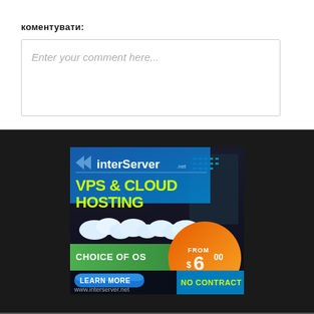коментувати:
Enter your comment here...
[Figure (infographic): InterServer VPS & Cloud Hosting advertisement banner. Dark background with blue gradient. Text: VPS & CLOUD HOSTING, CHOICE OF OS, LEARN MORE button, FROM $6.00/MO, NO CONTRACT, www.interserver.net]